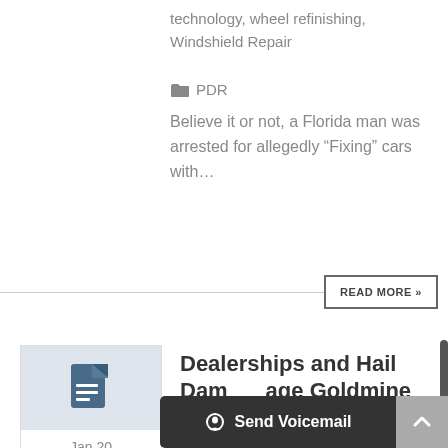technology, wheel refinishing, Windshield Repair
PDR
Believe it or not, a Florida man was arrested for allegedly “Fixing” cars with…
READ MORE »
[Figure (illustration): Document icon with horizontal lines, representing a blog post or article thumbnail]
Jan 20 2014
Dealerships and Hail Damage Goldmine
Send Voicemail